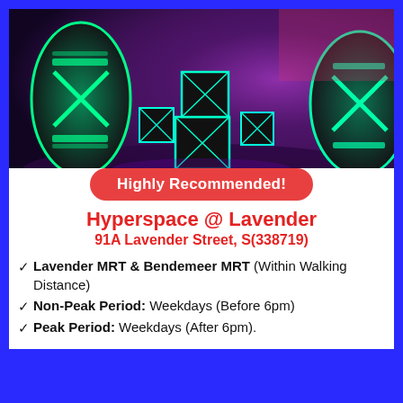[Figure (photo): Indoor neon/UV-lit gaming or entertainment venue with glowing green targets on board-shaped stands and illuminated cube obstacles, purple and pink lighting ambiance]
Highly Recommended!
Hyperspace @ Lavender
91A Lavender Street, S(338719)
Lavender MRT & Bendemeer MRT (Within Walking Distance)
Non-Peak Period: Weekdays (Before 6pm)
Peak Period: Weekdays (After 6pm).